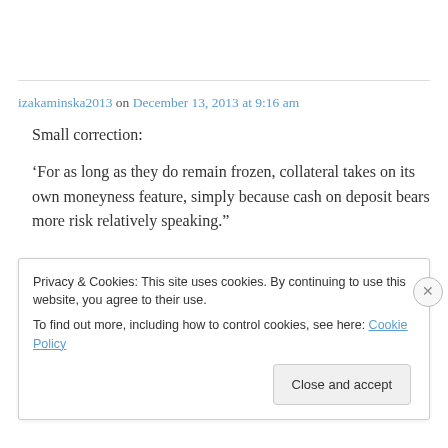izakaminska2013 on December 13, 2013 at 9:16 am
Small correction:
‘For as long as they do remain frozen, collateral takes on its own moneyness feature, simply because cash on deposit bears more risk relatively speaking.”
Privacy & Cookies: This site uses cookies. By continuing to use this website, you agree to their use. To find out more, including how to control cookies, see here: Cookie Policy
Close and accept